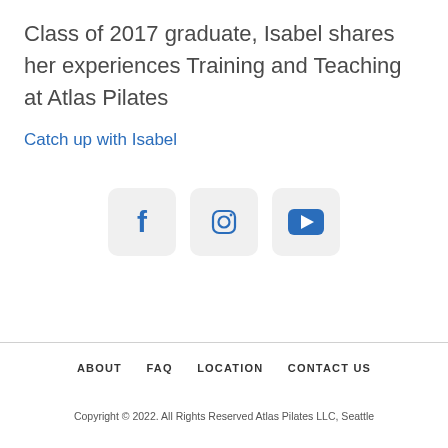Class of 2017 graduate, Isabel shares her experiences Training and Teaching at Atlas Pilates
Catch up with Isabel
[Figure (infographic): Three social media icon buttons in rounded square boxes: Facebook (f), Instagram (camera/circle icon), YouTube (play button triangle)]
ABOUT   FAQ   LOCATION   CONTACT US
Copyright © 2022. All Rights Reserved Atlas Pilates LLC, Seattle